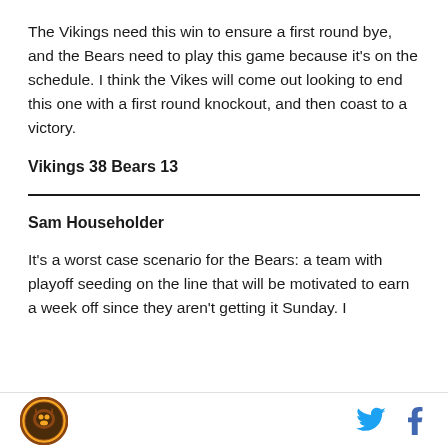The Vikings need this win to ensure a first round bye, and the Bears need to play this game because it's on the schedule. I think the Vikes will come out looking to end this one with a first round knockout, and then coast to a victory.
Vikings 38 Bears 13
Sam Householder
It's a worst case scenario for the Bears: a team with playoff seeding on the line that will be motivated to earn a week off since they aren't getting it Sunday. I